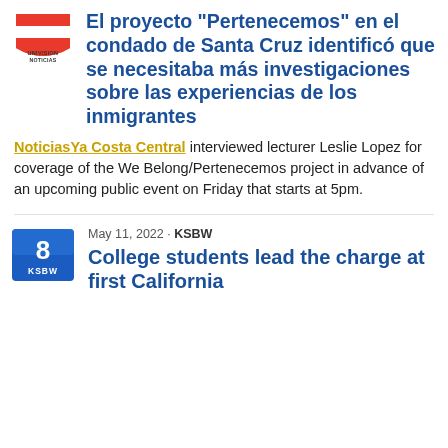[Figure (logo): Univision Noticias logo — red and white shield with 'UNIVISION NOTICIAS' text]
El proyecto "Pertenecemos" en el condado de Santa Cruz identificó que se necesitaba más investigaciones sobre las experiencias de los inmigrantes
NoticiasYa Costa Central interviewed lecturer Leslie Lopez for coverage of the We Belong/Pertenecemos project in advance of an upcoming public event on Friday that starts at 5pm.
[Figure (logo): KSBW Channel 8 logo — blue square with '8' and 'KSBW' text]
May 11, 2022 · KSBW
College students lead the charge at first California